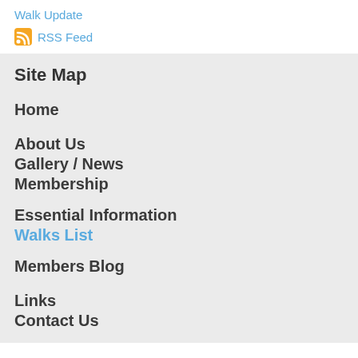Walk Update
RSS Feed
Site Map
Home
About Us
Gallery  / News
Membership
Essential Information
Walks List
Members Blog
Links
Contact Us